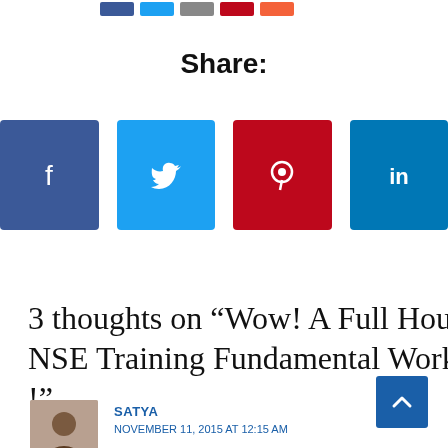[Figure (other): Row of small social share buttons (Facebook, Twitter, Email, Pinterest, Orange) partially visible at top of page]
Share:
[Figure (other): Four social media share icon buttons: Facebook (dark blue), Twitter (light blue), Pinterest (dark red), LinkedIn (teal blue)]
3 thoughts on “Wow! A Full House NSE Training Fundamental Workshop !”
SATYA
NOVEMBER 11, 2015 AT 12:15 AM